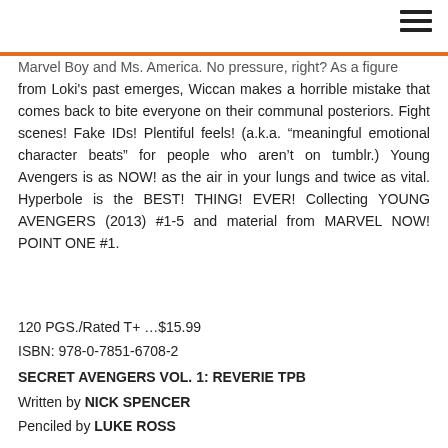Marvel Boy and Ms. America. No pressure, right? As a figure from Loki's past emerges, Wiccan makes a horrible mistake that comes back to bite everyone on their communal posteriors. Fight scenes! Fake IDs! Plentiful feels! (a.k.a. “meaningful emotional character beats” for people who aren’t on tumblr.) Young Avengers is as NOW! as the air in your lungs and twice as vital. Hyperbole is the BEST! THING! EVER! Collecting YOUNG AVENGERS (2013) #1-5 and material from MARVEL NOW! POINT ONE #1.
120 PGS./Rated T+ ...$15.99
ISBN: 978-0-7851-6708-2
SECRET AVENGERS VOL. 1: REVERIE TPB
Written by NICK SPENCER
Penciled by LUKE ROSS